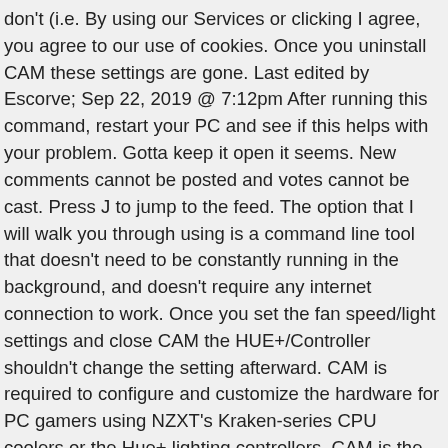don't (i.e. By using our Services or clicking I agree, you agree to our use of cookies. Once you uninstall CAM these settings are gone. Last edited by Escorve; Sep 22, 2019 @ 7:12pm After running this command, restart your PC and see if this helps with your problem. Gotta keep it open it seems. New comments cannot be posted and votes cannot be cast. Press J to jump to the feed. The option that I will walk you through using is a command line tool that doesn't need to be constantly running in the background, and doesn't require any internet connection to work. Once you set the fan speed/light settings and close CAM the HUE+/Controller shouldn't change the setting afterward. CAM is required to configure and customize the hardware for PC gamers using NZXT's Kraken-series CPU coolers or the Hue+ lighting controllers. CAM is the monitoring software and the LED control, you can use it as either or both. The company refreshed its entire X series of coolers and right here I'm going to be running you through the new NZXT Kraken X63 RGB. NZXT we need to talk! I'm running a hackintosh and am looking into